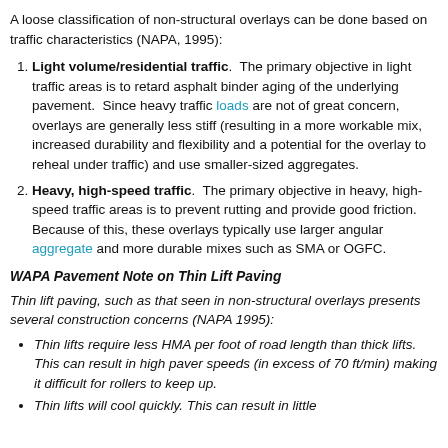A loose classification of non-structural overlays can be done based on traffic characteristics (NAPA, 1995):
Light volume/residential traffic. The primary objective in light traffic areas is to retard asphalt binder aging of the underlying pavement. Since heavy traffic loads are not of great concern, overlays are generally less stiff (resulting in a more workable mix, increased durability and flexibility and a potential for the overlay to reheal under traffic) and use smaller-sized aggregates.
Heavy, high-speed traffic. The primary objective in heavy, high-speed traffic areas is to prevent rutting and provide good friction. Because of this, these overlays typically use larger angular aggregate and more durable mixes such as SMA or OGFC.
WAPA Pavement Note on Thin Lift Paving
Thin lift paving, such as that seen in non-structural overlays presents several construction concerns (NAPA 1995):
Thin lifts require less HMA per foot of road length than thick lifts. This can result in high paver speeds (in excess of 70 ft/min) making it difficult for rollers to keep up.
Thin lifts will cool quickly. This can result in little...